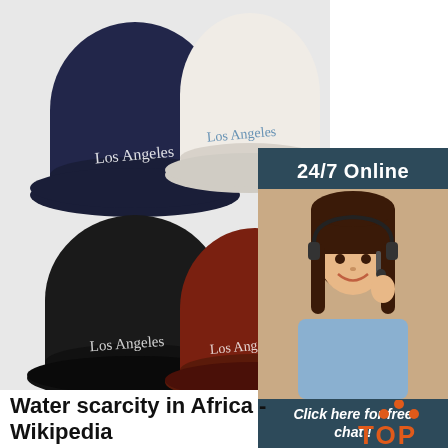[Figure (photo): Four bucket hats in navy, white, black, and dark red/maroon, each embroidered with 'Los Angeles' in script, displayed on a light gray background.]
[Figure (photo): Advertisement banner: dark teal background with '24/7 Online' text, photo of smiling female customer service agent with headset, italic text 'Click here for free chat!', and orange 'QUOTATION' button.]
Water scarcity in Africa - Wikipedia
[Figure (logo): Orange 'TOP' logo with upward arrow dots above the letters]
2021-11-8u2002·u2002Water scarcity in Africa is predicted to reach dangerously high levels by 2025. It is estimated that about two-thirds of the world's population may suffer from fresh